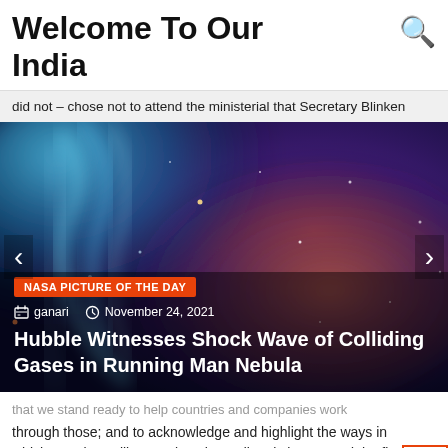Welcome To Our India
did not – chose not to attend the ministerial that Secretary Blinken
[Figure (photo): Hubble Space Telescope image showing a nebula with glowing gas filaments and stars against a blue and orange background — the Running Man Nebula.]
NASA PICTURE OF THE DAY
ganari   November 24, 2021
Hubble Witnesses Shock Wave of Colliding Gases in Running Man Nebula
that we stand ready to help countries and companies work through those; and to acknowledge and highlight the ways in which Russia's military actions have directly interrupted the flow vital agricultural commodities out of the Black Sea region that